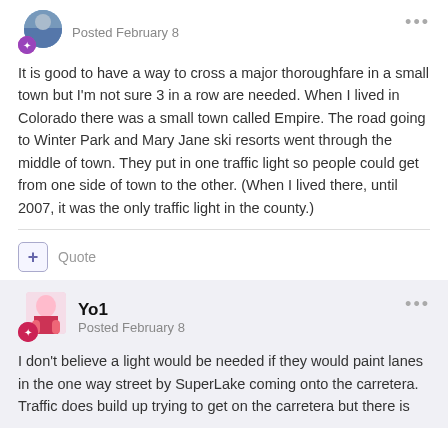Posted February 8
It is good to have a way to cross a major thoroughfare in a small town but I'm not sure 3 in a row are needed. When I lived in Colorado there was a small town called Empire. The road going to Winter Park and Mary Jane ski resorts went through the middle of town. They put in one traffic light so people could get from one side of town to the other. (When I lived there, until 2007, it was the only traffic light in the county.)
+ Quote
Yo1
Posted February 8
I don't believe a light would be needed if they would paint lanes in the one way street by SuperLake coming onto the carretera. Traffic does build up trying to get on the carretera but there is